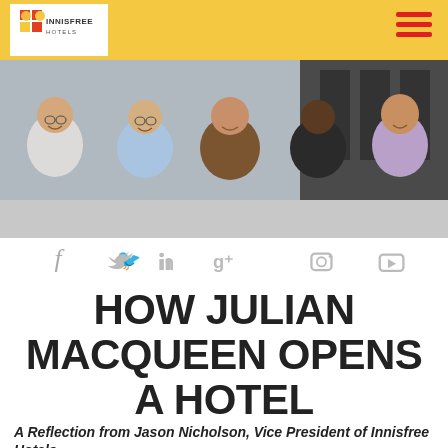[Figure (logo): Innisfree Hotels logo — sun/building icon above text INNISFREE HOTELS]
[Figure (photo): Five men standing together smiling for a group photo outdoors or in a commercial space]
[Figure (infographic): Social media icons row: Facebook, Twitter, LinkedIn, Google+, Instagram, YouTube — all in gray]
HOW JULIAN MACQUEEN OPENS A HOTEL
A Reflection from Jason Nicholson, Vice President of Innisfree Hotels